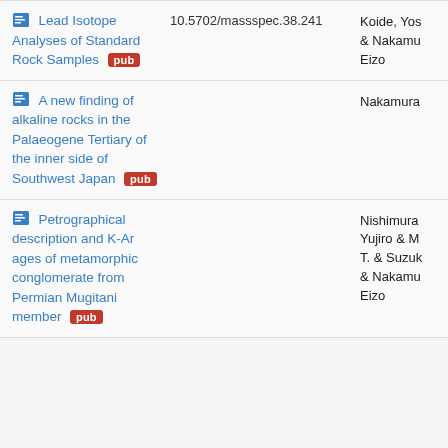Lead Isotope Analyses of Standard Rock Samples [pub] | 10.5702/massspec.38.241 | Koide, Yos & Nakamu Eizo
A new finding of alkaline rocks in the Palaeogene Tertiary of the inner side of Southwest Japan [pub] | Nakamura
Petrographical description and K-Ar ages of metamorphic conglomerate from Permian Mugitani member [pub] | Nishimura Yujiro & M T. & Suzuk & Nakamu Eizo